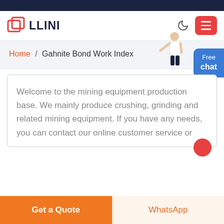LLINI
Home / Gahnite Bond Work Index
Welcome to the mining equipment production base. We mainly produce crushing, grinding and related mining equipment. If you have any needs, you can contact our online customer service or
Get a Quote
WhatsApp